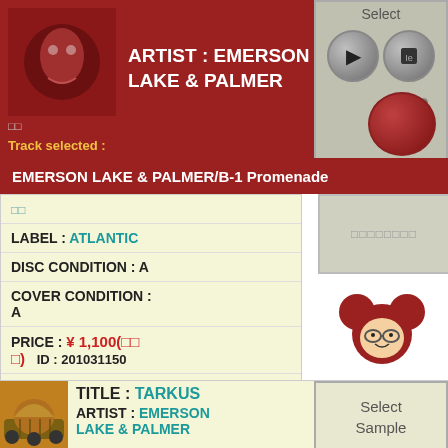ARTIST : EMERSON LAKE & PALMER
Track selected :
EMERSON LAKE & PALMER/B-1 Promenade
□□
LABEL : ATLANTIC
DISC CONDITION : A
COVER CONDITION : A
PRICE : ¥ 1,100(□□□)   ID : 201031150
SOLD OUT
TITLE : TARKUS
ARTIST : EMERSON LAKE & PALMER
Select Sample